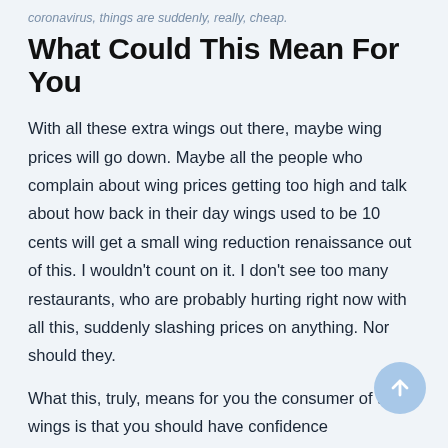coronavirus, things are suddenly, really, cheap.
What Could This Mean For You
With all these extra wings out there, maybe wing prices will go down. Maybe all the people who complain about wing prices getting too high and talk about how back in their day wings used to be 10 cents will get a small wing reduction renaissance out of this. I wouldn't count on it. I don't see too many restaurants, who are probably hurting right now with all this, suddenly slashing prices on anything. Nor should they.
What this, truly, means for you the consumer of tasty wings is that you should have confidence